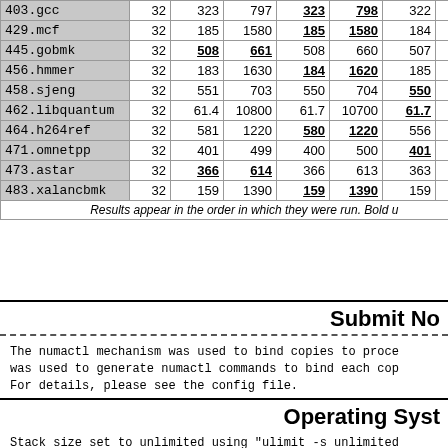| Benchmark | Copies | Base Seconds | Base Score | Peak Seconds | Peak Score | Col6 | Col7 |
| --- | --- | --- | --- | --- | --- | --- | --- |
| 403.gcc | 32 | 323 | 797 | 323 | 798 | 322 | … |
| 429.mcf | 32 | 185 | 1580 | 185 | 1580 | 184 | 15… |
| 445.gobmk | 32 | 508 | 661 | 508 | 660 | 507 | 6… |
| 456.hmmer | 32 | 183 | 1630 | 184 | 1620 | 185 | 16… |
| 458.sjeng | 32 | 551 | 703 | 550 | 704 | 550 | 7… |
| 462.libquantum | 32 | 61.4 | 10800 | 61.7 | 10700 | 61.7 | 107… |
| 464.h264ref | 32 | 581 | 1220 | 580 | 1220 | 556 | 12… |
| 471.omnetpp | 32 | 401 | 499 | 400 | 500 | 401 | 4… |
| 473.astar | 32 | 366 | 614 | 366 | 613 | 363 | 6… |
| 483.xalancbmk | 32 | 159 | 1390 | 159 | 1390 | 159 | 13… |
Results appear in the order in which they were run. Bold u
Submit No
The numactl mechanism was used to bind copies to proces was used to generate numactl commands to bind each cop For details, please see the config file.
Operating Syst
Stack size set to unlimited using "ulimit -s unlimited
Platform N